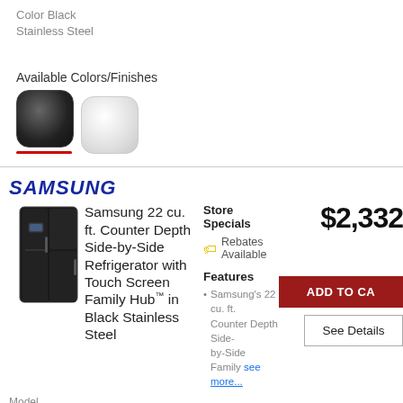Color Black Stainless Steel
Available Colors/Finishes
[Figure (illustration): Two color swatches: dark/black stainless steel (selected, with red underline) and light/white]
[Figure (logo): Samsung logo in blue italic bold text]
[Figure (photo): Samsung refrigerator product image - black stainless side-by-side refrigerator with touch screen]
Samsung 22 cu. ft. Counter Depth Side-by-Side Refrigerator with Touch Screen Family Hub™ in Black Stainless Steel
Store Specials
Rebates Available
Features
Samsung's 22 cu. ft. Counter Depth Side-by-Side Family see more...
$2,332
ADD TO CART
See Details
Model RS22T5561SG